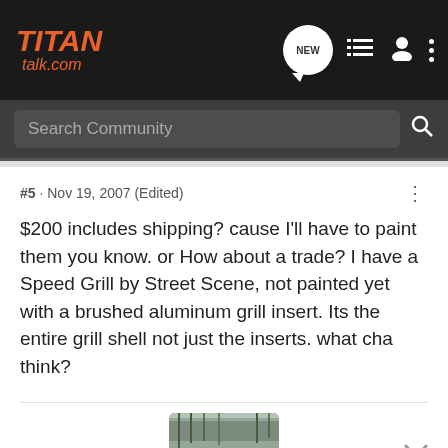TITAN talk.com
Search Community
#5 · Nov 19, 2007 (Edited)
$200 includes shipping? cause I'll have to paint them you know. or How about a trade? I have a Speed Grill by Street Scene, not painted yet with a brushed aluminum grill insert. Its the entire grill shell not just the inserts. what cha think?
[Figure (photo): Small thumbnail photo of a vehicle/truck in a field or outdoor setting]